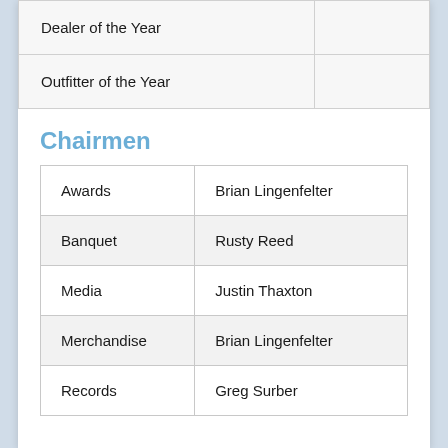| Dealer of the Year |  |
| Outfitter of the Year |  |
Chairmen
| Awards | Brian Lingenfelter |
| Banquet | Rusty Reed |
| Media | Justin Thaxton |
| Merchandise | Brian Lingenfelter |
| Records | Greg Surber |